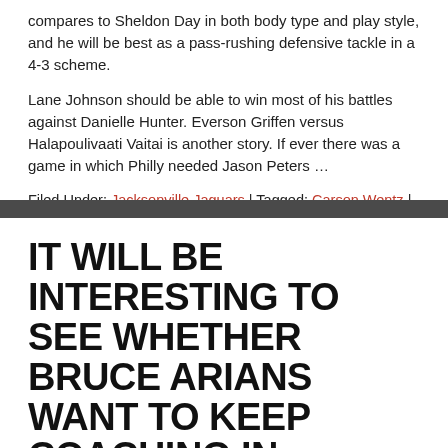compares to Sheldon Day in both body type and play style, and he will be best as a pass-rushing defensive tackle in a 4-3 scheme.
Lane Johnson should be able to win most of his battles against Danielle Hunter. Everson Griffen versus Halapoulivaati Vaitai is another story. If ever there was a game in which Philly needed Jason Peters …
Filed Under: Jacksonville Jaguars | Tagged: Carson Wentz | Leave a comment
IT WILL BE INTERESTING TO SEE WHETHER BRUCE ARIANS WANT TO KEEP COACHING IN ARIZONA BEYOND THIS SEASON.